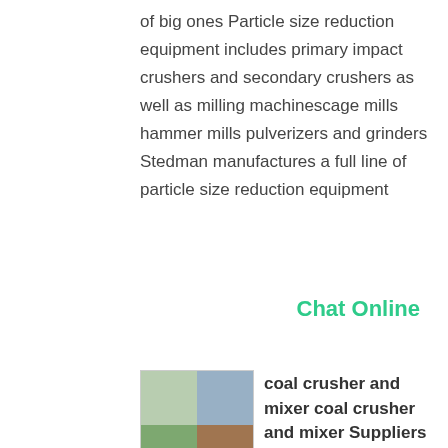of big ones Particle size reduction equipment includes primary impact crushers and secondary crushers as well as milling machinescage mills hammer mills pulverizers and grinders Stedman manufactures a full line of particle size reduction equipment
Chat Online
[Figure (photo): Industrial coal crusher and mixer machinery facility, four-quadrant thumbnail grid showing various processing equipment]
coal crusher and mixer coal crusher and mixer Suppliers
Alibaba offers 1 069 coal crusher and mixer products A wide variety of coal crusher and mixer options are available to you such as